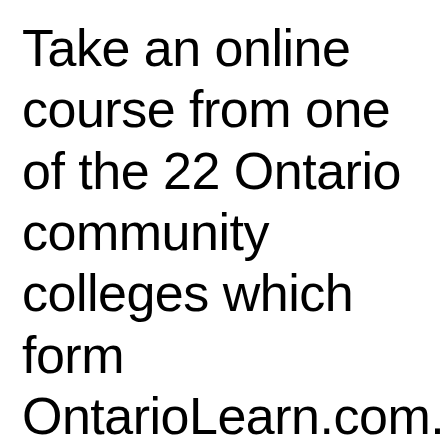Take an online course from one of the 22 Ontario community colleges which form OntarioLearn.com. Over 350 courses